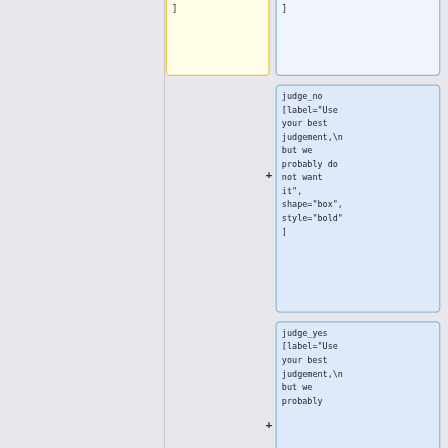[Figure (other): Diagram/flowchart node: yellow box (partially cropped at top) showing code snippet with style='bold' ]]
[Figure (other): Diagram/flowchart node: light blue/white box (partially cropped at top) showing code snippet with style='bold' ]]
[Figure (other): Diagram/flowchart node: blue box showing judge_no [label='Use your best judgement,\nbut we probably do not want it', shape='box', style='bold']]
[Figure (other): Diagram/flowchart node: blue box showing judge_yes [label='Use your best judgement,\nbut we probably...' (partially visible)]]